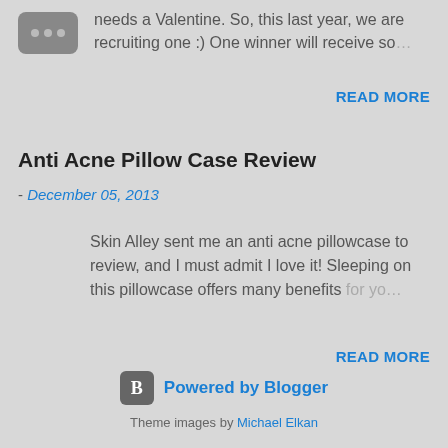[Figure (other): App icon placeholder with three dots on grey rounded rectangle]
needs a Valentine. So, this last year, we are recruiting one :) One winner will receive so…
READ MORE
Anti Acne Pillow Case Review
- December 05, 2013
Skin Alley sent me an anti acne pillowcase to review, and I must admit I love it! Sleeping on this pillowcase offers many benefits for yo…
READ MORE
[Figure (logo): Blogger B logo icon in grey rounded square]
Powered by Blogger
Theme images by Michael Elkan